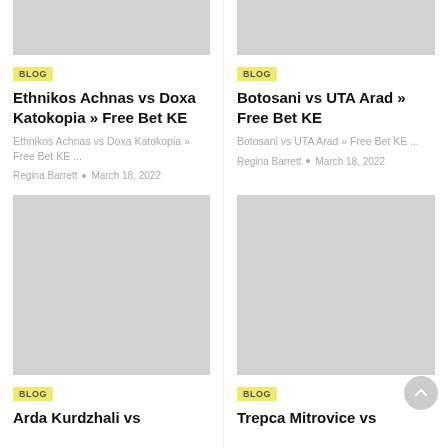[Figure (photo): Grey placeholder image for Ethnikos Achnas vs Doxa Katokopia blog post]
BLOG
Ethnikos Achnas vs Doxa Katokopia » Free Bet KE
Ethnikos Achnas vs Doxa Katokopia » Free Bet KE ...
Regina Barrett  •  March 18, 2022
[Figure (photo): Grey placeholder image for Botosani vs UTA Arad blog post]
BLOG
Botosani vs UTA Arad » Free Bet KE
Botosani vs UTA Arad » Free Bet KE ...
Regina Barrett  •  March 18, 2022
[Figure (photo): Grey placeholder image for Arda Kurdzhali blog post]
BLOG
Arda Kurdzhali vs
[Figure (photo): Grey placeholder image for Trepca Mitrovice blog post]
BLOG
Trepca Mitrovice vs